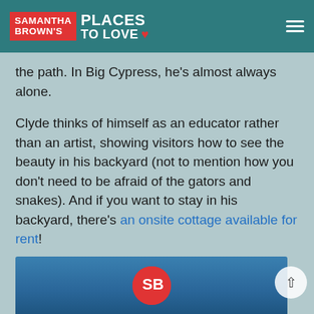Samantha Brown's Places to Love
the path. In Big Cypress, he's almost always alone.
Clyde thinks of himself as an educator rather than an artist, showing visitors how to see the beauty in his backyard (not to mention how you don't need to be afraid of the gators and snakes). And if you want to stay in his backyard, there's an onsite cottage available for rent!
Like this post? Save it on Pinterest!
[Figure (logo): Samantha Brown's Places to Love logo with red SB circle on blue background]